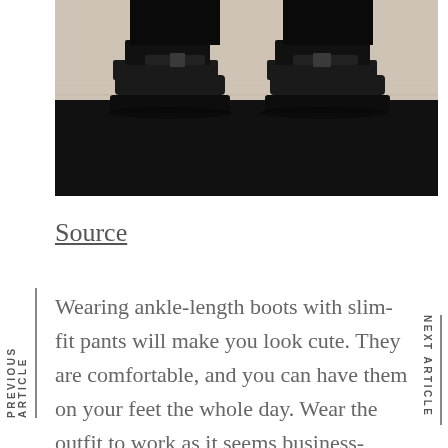[Figure (photo): Close-up photo of feet wearing black platform sandal shoes with black trousers/pants, shot from below on a light wooden floor background.]
Source
Wearing ankle-length boots with slim-fit pants will make you look cute. They are comfortable, and you can have them on your feet the whole day. Wear the outfit to work as it seems business-casual with a shirt and a coat. Knee-length boots will also make you stand out from the crowd—